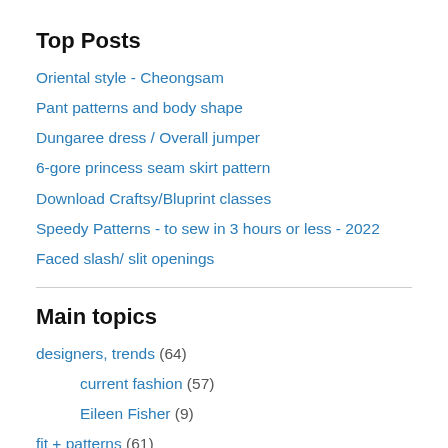Top Posts
Oriental style - Cheongsam
Pant patterns and body shape
Dungaree dress / Overall jumper
6-gore princess seam skirt pattern
Download Craftsy/Bluprint classes
Speedy Patterns - to sew in 3 hours or less - 2022
Faced slash/ slit openings
Main topics
designers, trends (64)
current fashion (57)
Eileen Fisher (9)
fit + patterns (61)
body shape (12)
fit of clothes (17)
pattern making for clothes (38)